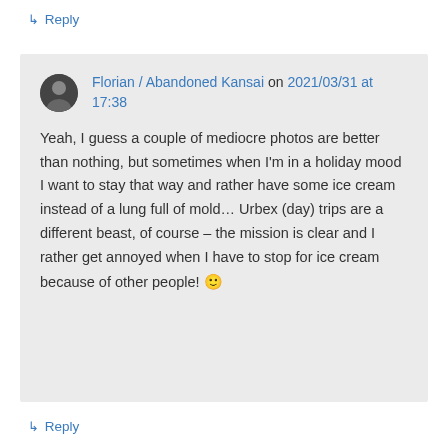↳ Reply
Florian / Abandoned Kansai on 2021/03/31 at 17:38
Yeah, I guess a couple of mediocre photos are better than nothing, but sometimes when I'm in a holiday mood I want to stay that way and rather have some ice cream instead of a lung full of mold… Urbex (day) trips are a different beast, of course – the mission is clear and I rather get annoyed when I have to stop for ice cream because of other people! 🙂
↳ Reply